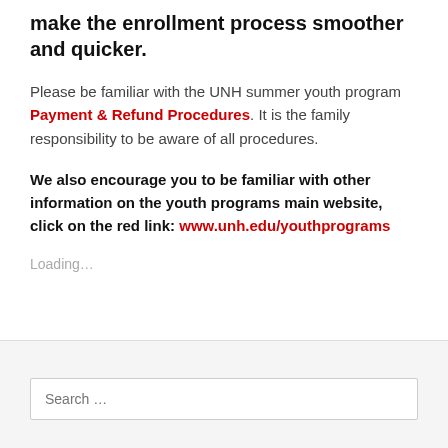make the enrollment process smoother and quicker.
Please be familiar with the UNH summer youth program Payment & Refund Procedures. It is the family responsibility to be aware of all procedures.
We also encourage you to be familiar with other information on the youth programs main website, click on the red link: www.unh.edu/youthprograms
Loading...